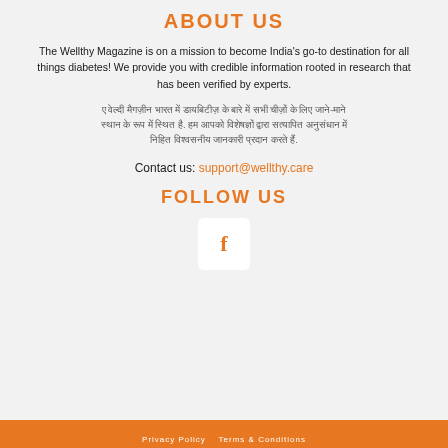ABOUT US
The Wellthy Magazine is on a mission to become India's go-to destination for all things diabetes! We provide you with credible information rooted in research that has been verified by experts.
Hindi language text paragraph about mission and information verified by experts.
Contact us: support@wellthy.care
FOLLOW US
[Figure (logo): Facebook icon in a white rounded square box with orange 'f' letter]
Privacy Policy  Terms & Conditions